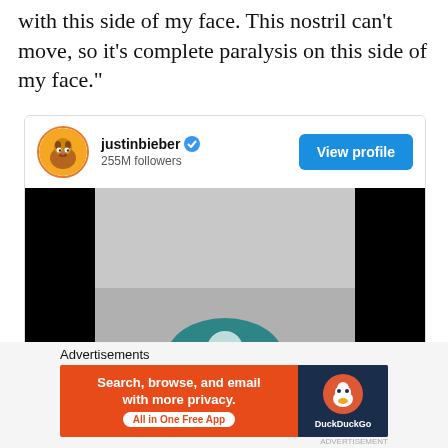with this side of my face. This nostril can't move, so it's complete paralysis on this side of my face."
[Figure (screenshot): Instagram profile embed for justinbieber with 255M followers, a View profile button, and a video thumbnail showing a person in a teal hat with black side bars.]
Advertisements
[Figure (screenshot): DuckDuckGo advertisement banner: 'Search, browse, and email with more privacy. All in One Free App' with DuckDuckGo duck logo on dark blue background.]